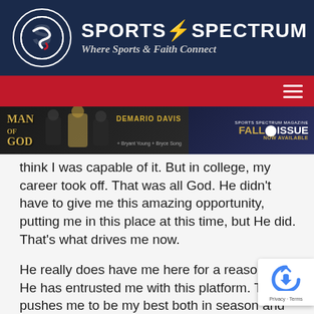[Figure (logo): Sports Spectrum logo with circular emblem and text 'SPORTS SPECTRUM — Where Sports & Faith Connect' on dark navy background]
[Figure (screenshot): Red navigation bar with hamburger menu icon on the right]
[Figure (screenshot): Sports Spectrum Magazine 'Man of God' banner ad featuring Demario Davis, with Fall Issue promotion on the right side]
think I was capable of it. But in college, my career took off. That was all God. He didn't have to give me this amazing opportunity, putting me in this place at this time, but He did. That's what drives me now.
He really does have me here for a reason and He has entrusted me with this platform. This pushes me to be my best both in season and offseason. When I try to do it all for my glory and my